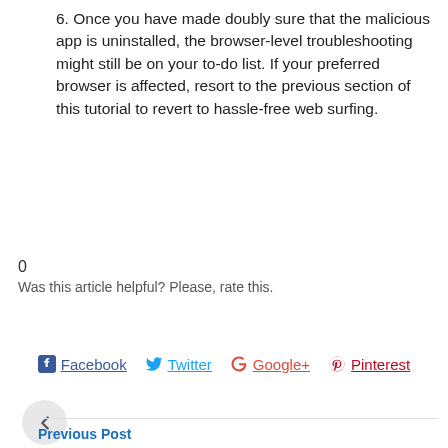6. Once you have made doubly sure that the malicious app is uninstalled, the browser-level troubleshooting might still be on your to-do list. If your preferred browser is affected, resort to the previous section of this tutorial to revert to hassle-free web surfing.
0
Was this article helpful? Please, rate this.
Facebook  Twitter  Google+  Pinterest
Previous Post